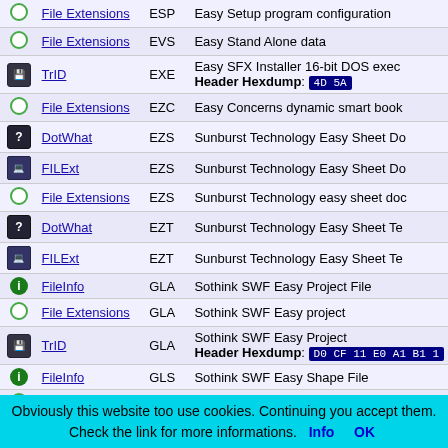| Icon | Source | Ext | Description |
| --- | --- | --- | --- |
| circle-green | File Extensions | ESP | Easy Setup program configuration |
| circle-green | File Extensions | EVS | Easy Stand Alone data |
| trid | TrID | EXE | Easy SFX Installer 16-bit DOS exec... Header Hexdump: 4D 5A |
| circle-green | File Extensions | EZC | Easy Concerns dynamic smart book... |
| dotwhat | DotWhat | EZS | Sunburst Technology Easy Sheet Do... |
| filext | FILExt | EZS | Sunburst Technology Easy Sheet Do... |
| circle-green | File Extensions | EZS | Sunburst Technology easy sheet doc... |
| dotwhat | DotWhat | EZT | Sunburst Technology Easy Sheet Te... |
| filext | FILExt | EZT | Sunburst Technology Easy Sheet Te... |
| info | FileInfo | GLA | Sothink SWF Easy Project File |
| circle-green | File Extensions | GLA | Sothink SWF Easy project |
| trid | TrID | GLA | Sothink SWF Easy Project Header Hexdump: D0 CF 11 E0 A1 B1 1... |
| info | FileInfo | GLS | Sothink SWF Easy Shape File |
| circle-green | File Extensions | IDX | Easy Timesheets data |
| filext | FILExt | ISO | Easy CD Creator Disc Image (Sonic... |
| filext | FILExt | ISU | Easy CD Creator 4 Uninstall File |
Obviously this website too use cookies. Continuing you accept them. Check the link for more informations. Info OK